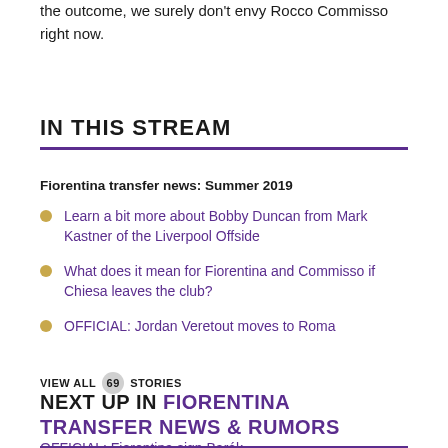the outcome, we surely don't envy Rocco Commisso right now.
IN THIS STREAM
Fiorentina transfer news: Summer 2019
Learn a bit more about Bobby Duncan from Mark Kastner of the Liverpool Offside
What does it mean for Fiorentina and Commisso if Chiesa leaves the club?
OFFICIAL: Jordan Veretout moves to Roma
VIEW ALL 69 STORIES
NEXT UP IN FIORENTINA TRANSFER NEWS & RUMORS
OFFICIAL: Fiorentina sign Barák